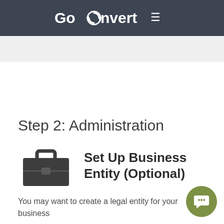[Figure (logo): GoConvert navigation bar logo with circular arrow icon and hamburger menu icon on dark gray background]
Step 2: Administration
[Figure (illustration): Briefcase/portfolio icon in dark gray]
Set Up Business Entity (Optional)
You may want to create a legal entity for your business